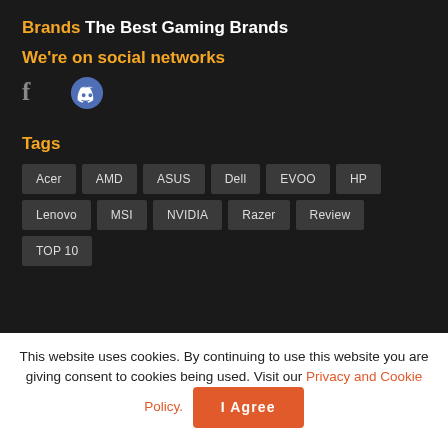Brands
The Best Gaming Brands
We're on social networks
[Figure (illustration): Facebook and Discord social media icons]
Tags
Acer
AMD
ASUS
Dell
EVOO
HP
Lenovo
MSI
NVIDIA
Razer
Review
TOP 10
This website uses cookies. By continuing to use this website you are giving consent to cookies being used. Visit our Privacy and Cookie Policy.
I Agree